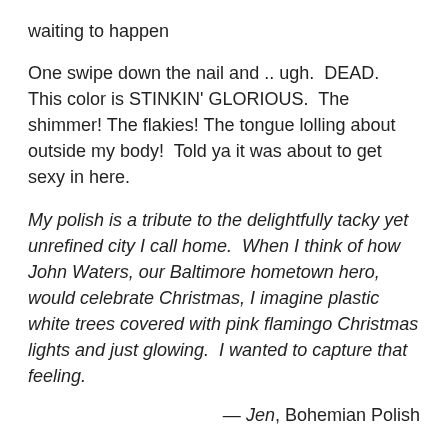waiting to happen
One swipe down the nail and .. ugh.  DEAD.  This color is STINKIN' GLORIOUS.  The shimmer! The flakies! The tongue lolling about outside my body!  Told ya it was about to get sexy in here.
My polish is a tribute to the delightfully tacky yet unrefined city I call home.  When I think of how John Waters, our Baltimore hometown hero, would celebrate Christmas, I imagine plastic white trees covered with pink flamingo Christmas lights and just glowing.  I wanted to capture that feeling.
— Jen, Bohemian Polish
And soooo … we'll take 18,000 bottles.